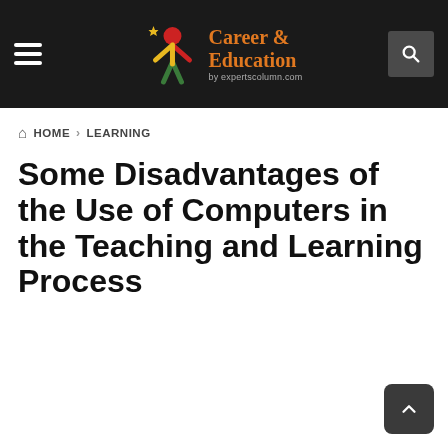Career & Education by expertscolumn.com
HOME > LEARNING
Some Disadvantages of the Use of Computers in the Teaching and Learning Process